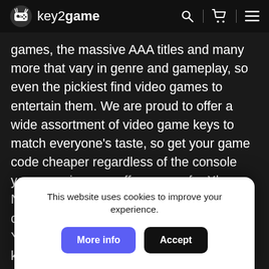key2game
games, the massive AAA titles and many more that vary in genre and gameplay, so even the pickiest find video games to entertain them. We are proud to offer a wide assortment of video game keys to match everyone's taste, so get your game code cheaper regardless of the console you use, since we offer games for Xbox, Nintendo, PS4 and PC gamers! The value of digital video games Digital video games are becoming popular amongst gamers worldwide, so let us see what benefits do the digital games present: Can be bought with just a few clicks; Pre-order feature; Periodically updated co... ga... Fi... You can purchase the game or the game key and install
This website uses cookies to improve your experience.
More info
Accept